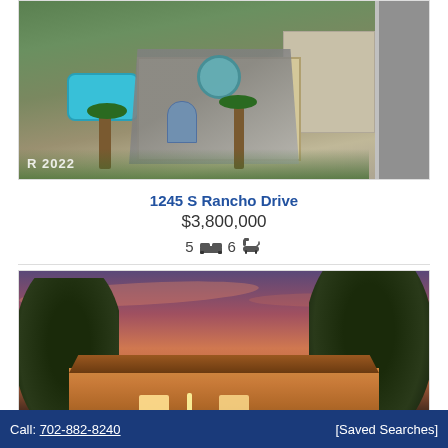[Figure (photo): Aerial view of 1245 S Rancho Drive property with pool, house with gray roof, palm trees, and street visible. Watermark 'R 2022' in lower left.]
1245 S Rancho Drive
$3,800,000
5 [bed icon] 6 [bath icon]
[Figure (photo): Twilight/dusk exterior photo of a luxury home with warm interior lights, large trees in foreground, and colorful sky.]
Call: 702-882-8240   [Saved Searches]